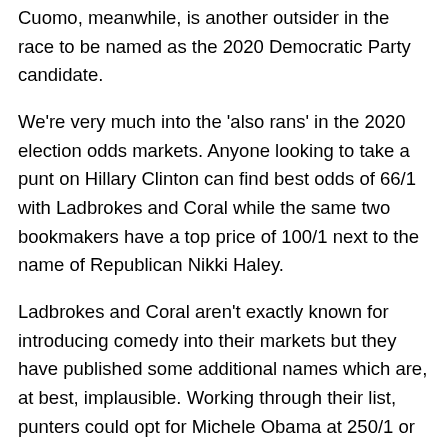Cuomo, meanwhile, is another outsider in the race to be named as the 2020 Democratic Party candidate.
We're very much into the 'also rans' in the 2020 election odds markets. Anyone looking to take a punt on Hillary Clinton can find best odds of 66/1 with Ladbrokes and Coral while the same two bookmakers have a top price of 100/1 next to the name of Republican Nikki Haley.
Ladbrokes and Coral aren't exactly known for introducing comedy into their markets but they have published some additional names which are, at best, implausible. Working through their list, punters could opt for Michele Obama at 250/1 or Ivanka Trump at 500/1. The current, and former first ladies are not going to interest us but, while